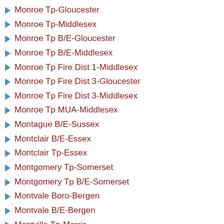Monroe Tp-Gloucester
Monroe Tp-Middlesex
Monroe Tp B/E-Gloucester
Monroe Tp B/E-Middlesex
Monroe Tp Fire Dist 1-Middlesex
Monroe Tp Fire Dist 3-Gloucester
Monroe Tp Fire Dist 3-Middlesex
Monroe Tp MUA-Middlesex
Montague B/E-Sussex
Montclair B/E-Essex
Montclair Tp-Essex
Montgomery Tp-Somerset
Montgomery Tp B/E-Somerset
Montvale Boro-Bergen
Montvale B/E-Bergen
Montville Tp-Morris
Montville Tp B/E-Morris
Montville Tp Library-Morris
Moonachie Boro-Bergen
Moonachie B/E-Bergen
Moorestown B/E-Burlington